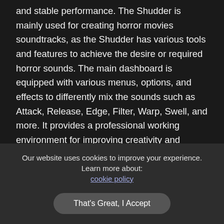and stable performance. The Shudder is mainly used for creating horror movies soundtracks, as the Shudder has various tools and features to achieve the desire or required horror sounds. The main dashboard is equipped with various menus, options, and effects to differently mix the sounds such as Attack, Release, Edge, Filter, Warp, Swell, and more. It provides a professional working environment for improving creativity and organizing the workflow. With convenient installation and elegant user interface, users can easily produce what they are seeking for. You can also download Steinberg – Groove Agent VST.
Features of Soundiron – Shudder (KONTAKT)
Below are some noticeable features which you'll experience after
Our website uses cookies to improve your experience. Learn more about: cookie policy
That's Great, I Accept